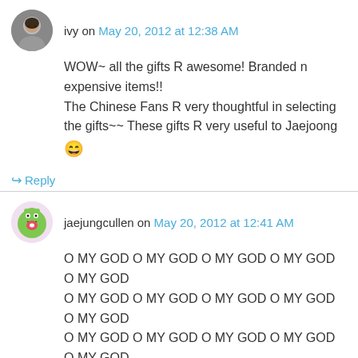ivy on May 20, 2012 at 12:38 AM
WOW~ all the gifts R awesome! Branded n expensive items!!
The Chinese Fans R very thoughtful in selecting the gifts~~ These gifts R very useful to Jaejoong 😄
↪ Reply
jaejungcullen on May 20, 2012 at 12:41 AM
O MY GOD O MY GOD O MY GOD O MY GOD O MY GOD O MY GOD O MY GOD O MY GOD O MY GOD O MY GOD O MY GOD O MY GOD O MY GOD O MY GOD O MY GOD O MY GOD O MY GOD O MY GOD O MY GOD O MY GOD